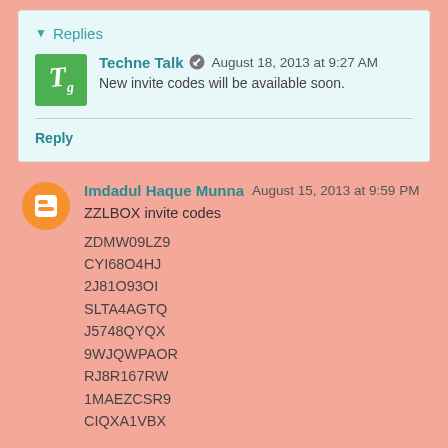Replies
Techne Talk  August 18, 2013 at 9:27 AM
New invite codes will be available soon.
Reply
Imdadul Haque Munna  August 15, 2013 at 9:59 PM
ZZLBOX invite codes
ZDMW09LZ9
CYI68O4HJ
2J81O93OI
SLTA4AGTQ
J5748QYQX
9WJQWPAOR
RJ8R167RW
1MAEZCSR9
CIQXA1VBX